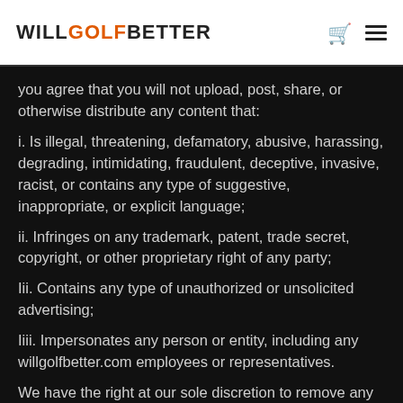[Figure (logo): WillGolfBetter logo with WILL and BETTER in dark/black and GOLF in orange, with a shopping cart icon and hamburger menu icon on the right]
you agree that you will not upload, post, share, or otherwise distribute any content that:
i. Is illegal, threatening, defamatory, abusive, harassing, degrading, intimidating, fraudulent, deceptive, invasive, racist, or contains any type of suggestive, inappropriate, or explicit language;
ii. Infringes on any trademark, patent, trade secret, copyright, or other proprietary right of any party;
Iii. Contains any type of unauthorized or unsolicited advertising;
Iiii. Impersonates any person or entity, including any willgolfbetter.com employees or representatives.
We have the right at our sole discretion to remove any content that, we feel in our judgment does not